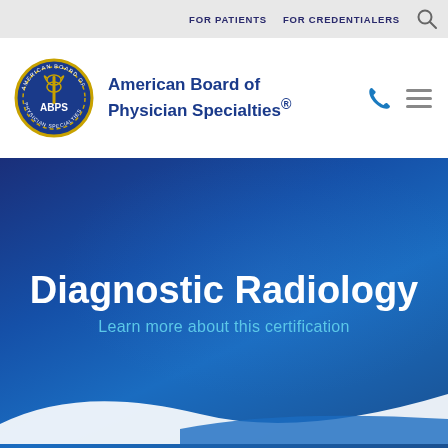FOR PATIENTS   FOR CREDENTIALERS
[Figure (logo): American Board of Physician Specialties circular seal logo with ABPS initials and caduceus]
American Board of Physician Specialties®
Diagnostic Radiology
Learn more about this certification